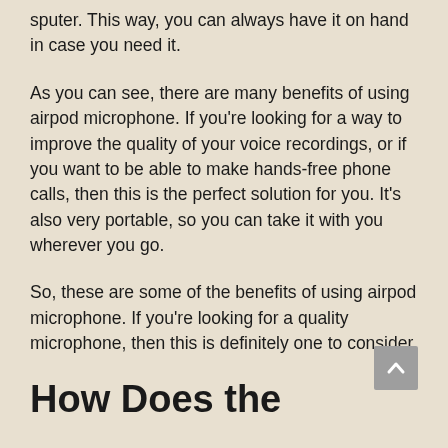sputer. This way, you can always have it on hand in case you need it.
As you can see, there are many benefits of using airpod microphone. If you're looking for a way to improve the quality of your voice recordings, or if you want to be able to make hands-free phone calls, then this is the perfect solution for you. It’s also very portable, so you can take it with you wherever you go.
So, these are some of the benefits of using airpod microphone. If you’re looking for a quality microphone, then this is definitely one to consider.
How Does the